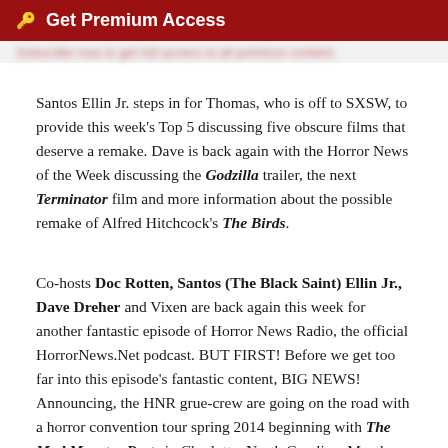🔑 Get Premium Access
Santos Ellin Jr. steps in for Thomas, who is off to SXSW, to provide this week's Top 5 discussing five obscure films that deserve a remake. Dave is back again with the Horror News of the Week discussing the Godzilla trailer, the next Terminator film and more information about the possible remake of Alfred Hitchcock's The Birds.
Co-hosts Doc Rotten, Santos (The Black Saint) Ellin Jr., Dave Dreher and Vixen are back again this week for another fantastic episode of Horror News Radio, the official HorrorNews.Net podcast. BUT FIRST! Before we get too far into this episode's fantastic content, BIG NEWS! Announcing, the HNR grue-crew are going on the road with a horror convention tour spring 2014 beginning with The Mad Monster Party in Charlotte, North Carolina, March 21-23. SEE YOU THERE! Be sure to go to their Facebook page and give them a like. Tell 'em Horror News Radio sent you!